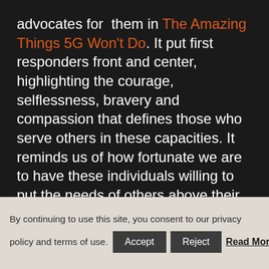advocates for them in The Amazing Things 5G Won't Do. It put first responders front and center, highlighting the courage, selflessness, bravery and compassion that defines those who serve others in these capacities. It reminds us of how fortunate we are to have these individuals willing to put the needs of others above their own, even as we and they suffer through natural disasters and other tragedy. It's an example of what is and what is yet to come to facilitate these individuals' work.
The Kia Tough Never Quits spoke to me as a former football player, who overachieved by
By continuing to use this site, you consent to our privacy policy and terms of use.